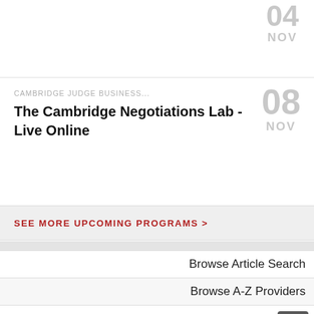04 NOV
CAMBRIDGE JUDGE BUSINESS...
The Cambridge Negotiations Lab - Live Online
08 NOV
SEE MORE UPCOMING PROGRAMS >
Browse Article Search
Browse A-Z Providers
Browse Upcoming Programs
Browse Resource Centre